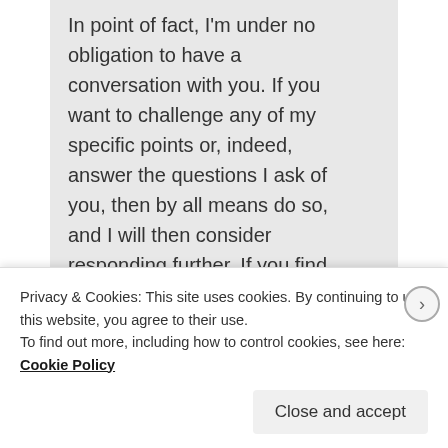In point of fact, I'm under no obligation to have a conversation with you. If you want to challenge any of my specific points or, indeed, answer the questions I ask of you, then by all means do so, and I will then consider responding further. If you find your faith to be so fragile that you're unable to do so, then I guess it'll have to be goodbye.
★ Like
Privacy & Cookies: This site uses cookies. By continuing to use this website, you agree to their use.
To find out more, including how to control cookies, see here: Cookie Policy